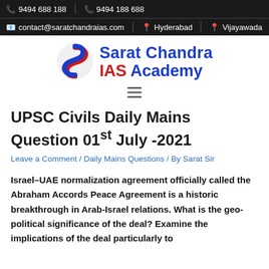9494 688 188   9494 188 688   contact@saratchandraias.com   Hyderabad   Vijayawada
[Figure (logo): Sarat Chandra IAS Academy logo with blue and red swirl S icon and text 'Sarat Chandra IAS Academy']
UPSC Civils Daily Mains Question 01st July -2021
Leave a Comment / Daily Mains Questions / By Sarat Sir
Israel–UAE normalization agreement officially called the Abraham Accords Peace Agreement is a historic breakthrough in Arab-Israel relations. What is the geo-political significance of the deal? Examine the implications of the deal particularly to